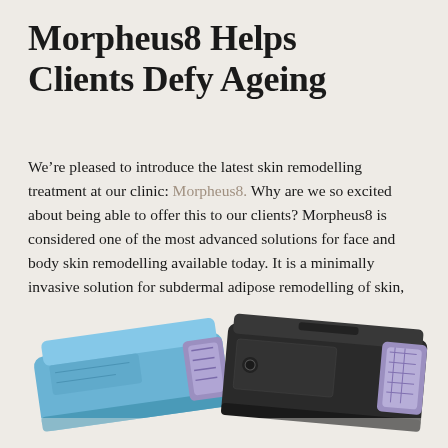Morpheus8 Helps Clients Defy Ageing
We’re pleased to introduce the latest skin remodelling treatment at our clinic: Morpheus8. Why are we so excited about being able to offer this to our clients? Morpheus8 is considered one of the most advanced solutions for face and body skin remodelling available today. It is a minimally invasive solution for subdermal adipose remodelling of skin, which helps to reinvigorate your natural radiance.
[Figure (photo): Two Morpheus8 medical device handpieces — a blue one and a black one — photographed from above at an angle, partially cropped at the bottom of the page.]